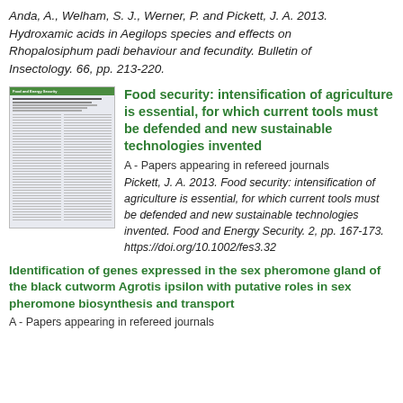Anda, A., Welham, S. J., Werner, P. and Pickett, J. A. 2013. Hydroxamic acids in Aegilops species and effects on Rhopalosiphum padi behaviour and fecundity. Bulletin of Insectology. 66, pp. 213-220.
[Figure (screenshot): Thumbnail of a Food and Energy Security journal article page]
Food security: intensification of agriculture is essential, for which current tools must be defended and new sustainable technologies invented
A - Papers appearing in refereed journals
Pickett, J. A. 2013. Food security: intensification of agriculture is essential, for which current tools must be defended and new sustainable technologies invented. Food and Energy Security. 2, pp. 167-173. https://doi.org/10.1002/fes3.32
Identification of genes expressed in the sex pheromone gland of the black cutworm Agrotis ipsilon with putative roles in sex pheromone biosynthesis and transport
A - Papers appearing in refereed journals